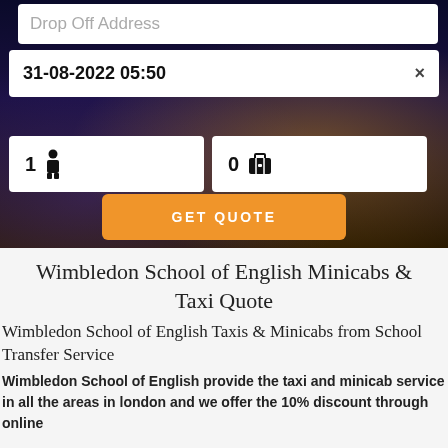[Figure (screenshot): Web booking form UI on a dark city-lights hero background. Contains: Drop Off Address input field, date/time input showing '31-08-2022 05:50' with an X button, a passenger count field showing '1' with a person icon, a luggage count field showing '0' with a bag icon, and an orange 'GET QUOTE' button.]
Wimbledon School of English Minicabs & Taxi Quote
Wimbledon School of English Taxis & Minicabs from School Transfer Service
Wimbledon School of English provide the taxi and minicab service in all the areas in london and we offer the 10% discount through online